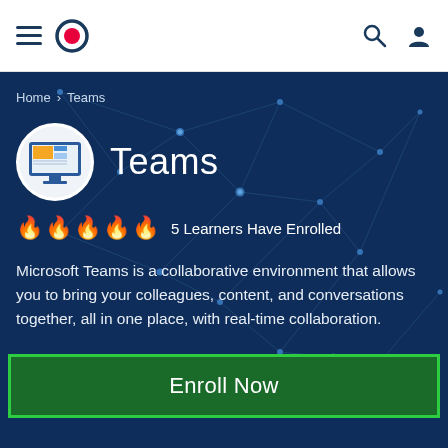[Figure (screenshot): Website navigation header bar with hamburger menu, circular logo icon with red target/record symbol, and search and user profile icons on the right]
Home > Teams
Teams
🔥🔥🔥🔥🔥 5 Learners Have Enrolled
Microsoft Teams is a collaborative environment that allows you to bring your colleagues, content, and conversations together, all in one place, with real-time collaboration.
$99.00
Enroll Now